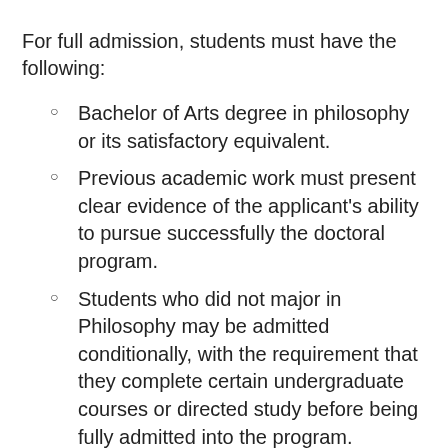For full admission, students must have the following:
Bachelor of Arts degree in philosophy or its satisfactory equivalent.
Previous academic work must present clear evidence of the applicant's ability to pursue successfully the doctoral program.
Students who did not major in Philosophy may be admitted conditionally, with the requirement that they complete certain undergraduate courses or directed study before being fully admitted into the program.
The deadline for all applications to the graduate